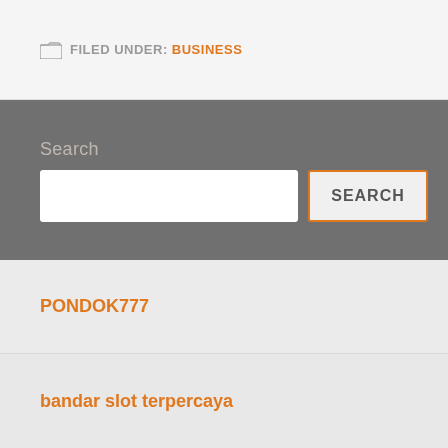FILED UNDER: BUSINESS
Search
SEARCH
PONDOK777
bandar slot terpercaya